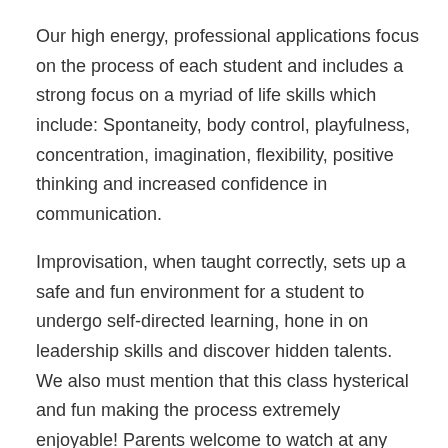Our high energy, professional applications focus on the process of each student and includes a strong focus on a myriad of life skills which include: Spontaneity, body control, playfulness, concentration, imagination, flexibility, positive thinking and increased confidence in communication.
Improvisation, when taught correctly, sets up a safe and fun environment for a student to undergo self-directed learning, hone in on leadership skills and discover hidden talents. We also must mention that this class hysterical and fun making the process extremely enjoyable! Parents welcome to watch at any time and don't forget to save the date for the final day! (Impromptu showcase during regular class time, on the last day of the session)